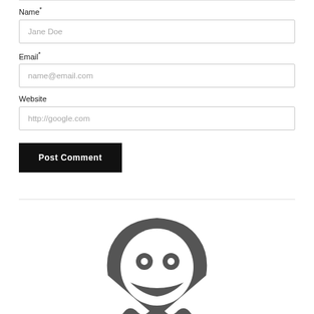Name*
Jane Doe
Email*
name@email.com
Website
http://google.com
Post Comment
[Figure (logo): Circular logo with a ghost/skull-like icon in dark gray]